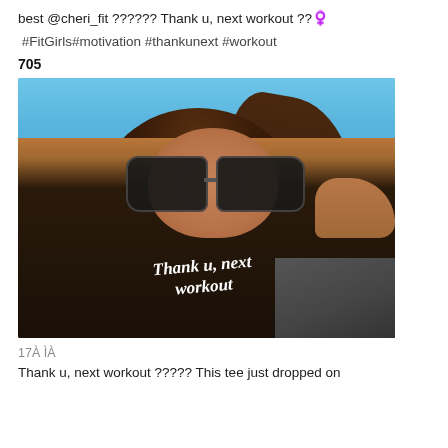best @cheri_fit ?????? Thank u, next workout ???
#FitGirls#motivation #thankunext #workout
705
[Figure (photo): Woman wearing sunglasses and a black sleeveless t-shirt that reads 'Thank u, next workout', taking a selfie outdoors with blue sky background]
17    
Thank u, next workout ????? This tee just dropped on